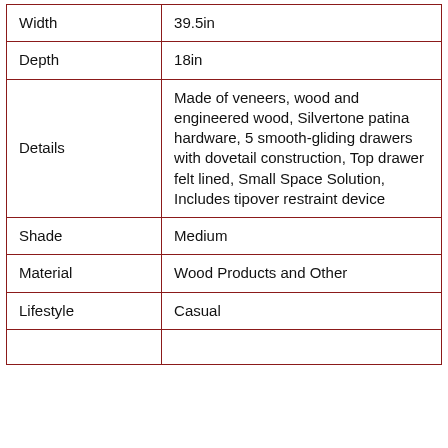|  |  |
| --- | --- |
| Width | 39.5in |
| Depth | 18in |
| Details | Made of veneers, wood and engineered wood, Silvertone patina hardware, 5 smooth-gliding drawers with dovetail construction, Top drawer felt lined, Small Space Solution, Includes tipover restraint device |
| Shade | Medium |
| Material | Wood Products and Other |
| Lifestyle | Casual |
|  |  |